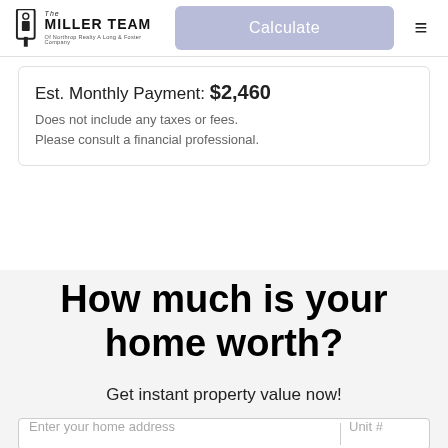[Figure (logo): The Miller Team logo - Of Northrop Realty A Long & Foster Company]
Calculate
Est. Monthly Payment: $2,460
Does not include any taxes or fees.
Please consult a financial professional.
How much is your home worth?
Get instant property value now!
Enter your home address
Unit #